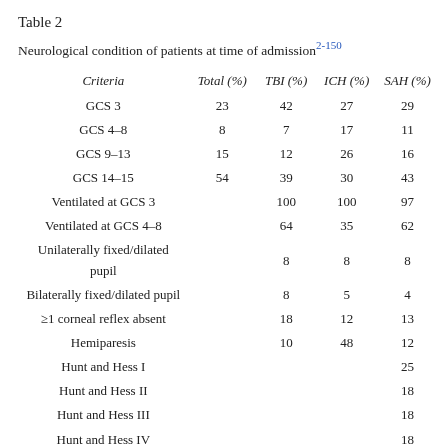Table 2
Neurological condition of patients at time of admission2-150
| Criteria | Total (%) | TBI (%) | ICH (%) | SAH (%) |
| --- | --- | --- | --- | --- |
| GCS 3 | 23 | 42 | 27 | 29 |
| GCS 4–8 | 8 | 7 | 17 | 11 |
| GCS 9–13 | 15 | 12 | 26 | 16 |
| GCS 14–15 | 54 | 39 | 30 | 43 |
| Ventilated at GCS 3 |  | 100 | 100 | 97 |
| Ventilated at GCS 4–8 |  | 64 | 35 | 62 |
| Unilaterally fixed/dilated pupil |  | 8 | 8 | 8 |
| Bilaterally fixed/dilated pupil |  | 8 | 5 | 4 |
| ≥1 corneal reflex absent |  | 18 | 12 | 13 |
| Hemiparesis |  | 10 | 48 | 12 |
| Hunt and Hess I |  |  |  | 25 |
| Hunt and Hess II |  |  |  | 18 |
| Hunt and Hess III |  |  |  | 18 |
| Hunt and Hess IV |  |  |  | 18 |
| Hunt and Hess V |  |  |  | 21 |